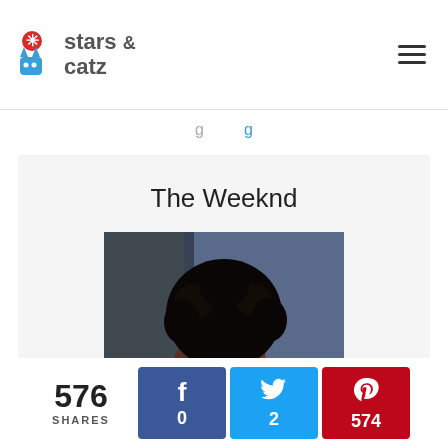stars & catz
The Weeknd
[Figure (photo): Photo of The Weeknd, a male musician with an afro hairstyle, looking upward, lit with blue/purple stage lighting against a grey background]
576 SHARES
f 0
2
574